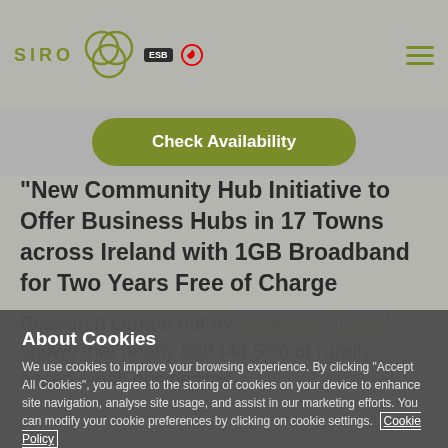SIRO — Check Availability — ESB Vodafone
New Community Hub Initiative to Offer Business Hubs in 17 Towns across Ireland with 1GB Broadband for Two Years Free of Charge
Research carried out by Vodafone Ireland shows that nearly half (44.5%) of rurally-based small businesses
About Cookies
We use cookies to improve your browsing experience. By clicking "Accept All Cookies", you agree to the storing of cookies on your device to enhance site navigation, analyse site usage, and assist in our marketing efforts. You can modify your cookie preferences by clicking on cookie settings. Cookie Policy